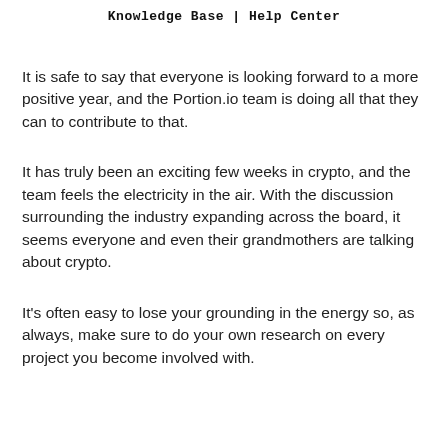Knowledge Base | Help Center
It is safe to say that everyone is looking forward to a more positive year, and the Portion.io team is doing all that they can to contribute to that.
It has truly been an exciting few weeks in crypto, and the team feels the electricity in the air. With the discussion surrounding the industry expanding across the board, it seems everyone and even their grandmothers are talking about crypto.
It's often easy to lose your grounding in the energy so, as always, make sure to do your own research on every project you become involved with.